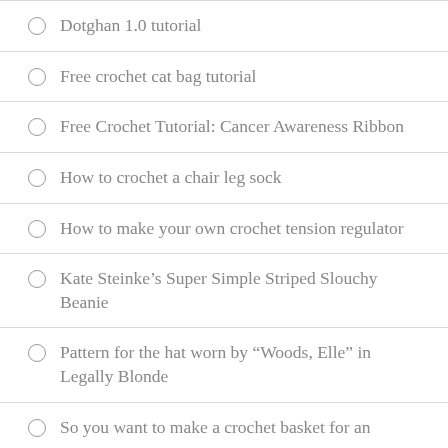Dotghan 1.0 tutorial
Free crochet cat bag tutorial
Free Crochet Tutorial: Cancer Awareness Ribbon
How to crochet a chair leg sock
How to make your own crochet tension regulator
Kate Steinke's Super Simple Striped Slouchy Beanie
Pattern for the hat worn by “Woods, Elle” in Legally Blonde
So you want to make a crochet basket for an